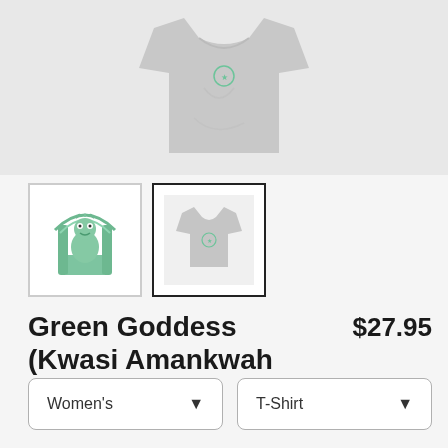[Figure (photo): Product image of a grey women's t-shirt with a green design on a light grey background]
[Figure (illustration): Thumbnail 1: Green Goddess illustration (frog-like character on ornate throne)]
[Figure (photo): Thumbnail 2: Selected - Grey women's t-shirt product photo (currently selected with black border)]
Green Goddess (Kwasi Amankwah Artist Collab)
$27.95
Women's
T-Shirt
SELECT YOUR FIT